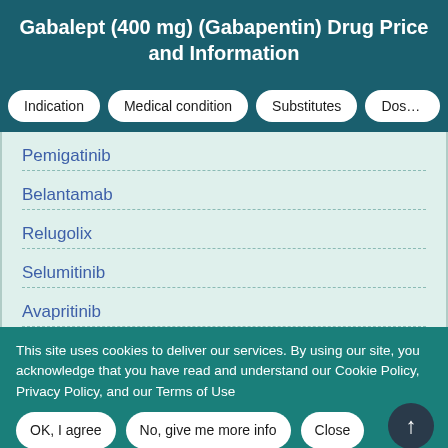Gabalept (400 mg) (Gabapentin) Drug Price and Information
Indication
Medical condition
Substitutes
Dosage
Pemigatinib
Belantamab
Relugolix
Selumitinib
Avapritinib
This site uses cookies to deliver our services. By using our site, you acknowledge that you have read and understand our Cookie Policy, Privacy Policy, and our Terms of Use
OK, I agree
No, give me more info
Close